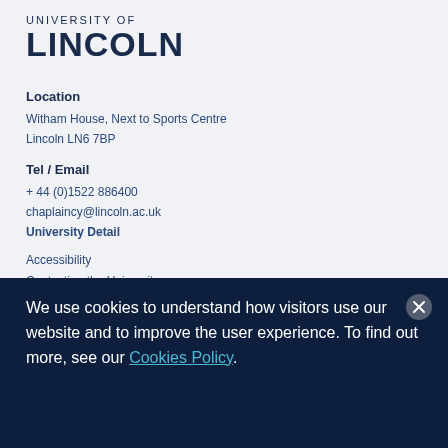UNIVERSITY OF LINCOLN
Location
Witham House, Next to Sports Centre
Lincoln LN6 7BP
Tel / Email
+ 44 (0)1522 886400
chaplaincy@lincoln.ac.uk
University Detail
Accessibility
Contacting the University
Legal
Privacy & Disclaimer
Freedom of Information
We use cookies to understand how visitors use our website and to improve the user experience. To find out more, see our Cookies Policy.